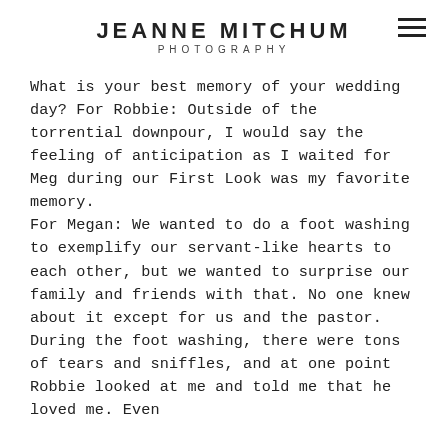JEANNE MITCHUM PHOTOGRAPHY
What is your best memory of your wedding day? For Robbie: Outside of the torrential downpour, I would say the feeling of anticipation as I waited for Meg during our First Look was my favorite memory.
For Megan: We wanted to do a foot washing to exemplify our servant-like hearts to each other, but we wanted to surprise our family and friends with that. No one knew about it except for us and the pastor. During the foot washing, there were tons of tears and sniffles, and at one point Robbie looked at me and told me that he loved me. Even